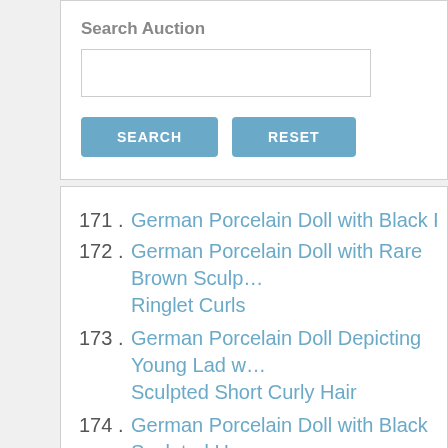Search Auction
171. German Porcelain Doll with Black Painted Sn...
172. German Porcelain Doll with Rare Brown Sculpted Ringlet Curls
173. German Porcelain Doll Depicting Young Lad with Sculpted Short Curly Hair
174. German Porcelain Doll with Black Sculpted H... Coiffure
175. Beautiful German Porcelain Lady Doll with B...